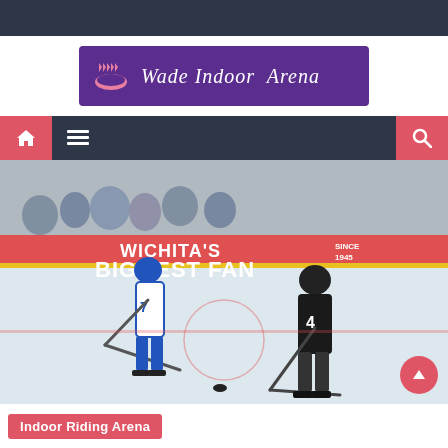[Figure (logo): Wade Indoor Arena logo: purple rectangle with pink crown/ring icon and white italic text 'Wade Indoor Arena']
[Figure (screenshot): Navigation bar with home icon (red background), hamburger menu icon, and search icon (red background) on dark background]
[Figure (photo): Ice hockey game photo: player in blue uniform with stick facing player in black #4 jersey, rink boards show 'WICHITA'S BIGGEST FAN SINCE 1945' banner and 'JAIL SUCKS' text]
Indoor Riding Arena